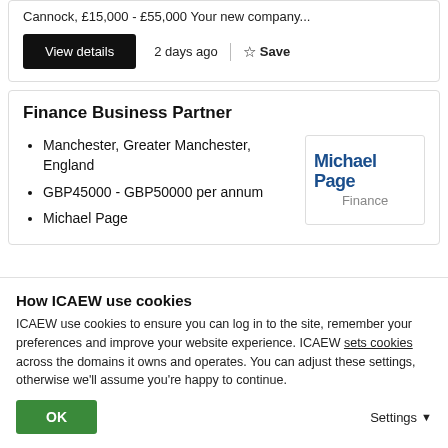Cannock, £15,000 - £55,000 Your new company...
View details
2 days ago
Save
Finance Business Partner
Manchester, Greater Manchester, England
GBP45000 - GBP50000 per annum
Michael Page
[Figure (logo): Michael Page Finance logo]
How ICAEW use cookies
ICAEW use cookies to ensure you can log in to the site, remember your preferences and improve your website experience. ICAEW sets cookies across the domains it owns and operates. You can adjust these settings, otherwise we'll assume you're happy to continue.
OK
Settings